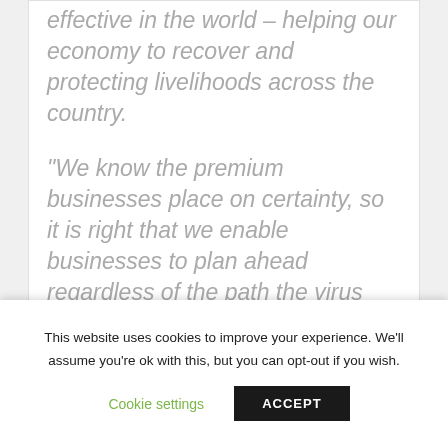effective in the world – helping our economy to recover and protecting livelihoods across the country.
“We know the premium businesses place on certainty, so it is right that we enable businesses to plan ahead regardless of the path the virus takes, which is why we’re providing certainty and clarity by extending this support, as well as implementing our Plan for Jobs.”
This website uses cookies to improve your experience. We'll assume you're ok with this, but you can opt-out if you wish.
Cookie settings
ACCEPT